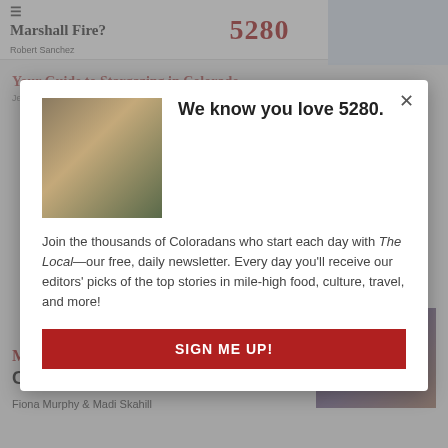5280
Marshall Fire?
Robert Sanchez
Your Guide to Stargazing in Colorado
Jessica LaRusso
Meet Colorado's Denver-Based Burlesque Company Empowers Audiences at Five Nines
Fiona Murphy & Madi Skahill
[Figure (screenshot): Modal popup overlay on 5280 magazine website with newsletter signup. Shows a hand holding a phone with the 5280 magazine app. Title reads 'We know you love 5280.' Body text: 'Join the thousands of Coloradans who start each day with The Local—our free, daily newsletter. Every day you'll receive our editors' picks of the top stories in mile-high food, culture, travel, and more!' Red button labeled 'SIGN ME UP!']
We know you love 5280.
Join the thousands of Coloradans who start each day with The Local—our free, daily newsletter. Every day you'll receive our editors' picks of the top stories in mile-high food, culture, travel, and more!
SIGN ME UP!